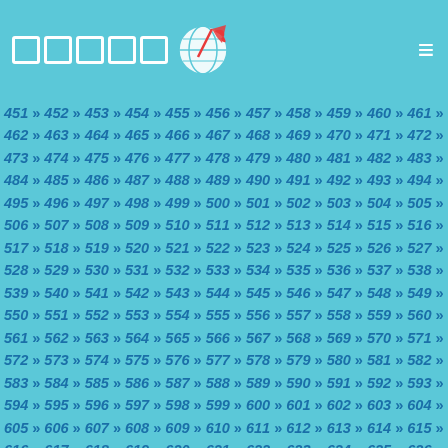Logo with globe icon and hamburger menu
451 » 452 » 453 » 454 » 455 » 456 » 457 » 458 » 459 » 460 » 461 » 462 » 463 » 464 » 465 » 466 » 467 » 468 » 469 » 470 » 471 » 472 » 473 » 474 » 475 » 476 » 477 » 478 » 479 » 480 » 481 » 482 » 483 » 484 » 485 » 486 » 487 » 488 » 489 » 490 » 491 » 492 » 493 » 494 » 495 » 496 » 497 » 498 » 499 » 500 » 501 » 502 » 503 » 504 » 505 » 506 » 507 » 508 » 509 » 510 » 511 » 512 » 513 » 514 » 515 » 516 » 517 » 518 » 519 » 520 » 521 » 522 » 523 » 524 » 525 » 526 » 527 » 528 » 529 » 530 » 531 » 532 » 533 » 534 » 535 » 536 » 537 » 538 » 539 » 540 » 541 » 542 » 543 » 544 » 545 » 546 » 547 » 548 » 549 » 550 » 551 » 552 » 553 » 554 » 555 » 556 » 557 » 558 » 559 » 560 » 561 » 562 » 563 » 564 » 565 » 566 » 567 » 568 » 569 » 570 » 571 » 572 » 573 » 574 » 575 » 576 » 577 » 578 » 579 » 580 » 581 » 582 » 583 » 584 » 585 » 586 » 587 » 588 » 589 » 590 » 591 » 592 » 593 » 594 » 595 » 596 » 597 » 598 » 599 » 600 » 601 » 602 » 603 » 604 » 605 » 606 » 607 » 608 » 609 » 610 » 611 » 612 » 613 » 614 » 615 » 616 » 617 » 618 » 619 » 620 » 621 » 622 » 623 » 624 » 625 » 626 » 627 » 628 » 629 » 630 » 631 » 632 » 633 » 634 » 635 » 636 » 637 » 638 » 639 » 640 » 641 » 642 » 643 » 644 » 645 » 646 » 647 » 648 » 649 » 650 » 651 » 652 » 653 » 654 » 655 » 656 » 657 » 658 » 659 » 660 » 661 » 662 » 663 » 664 » 665 » 666 » 667 » 668 » 669 » 670 » 671 » 672 » 673 » 674 » 675 » 676 » 677 » 678 » 679 » 680 » 681